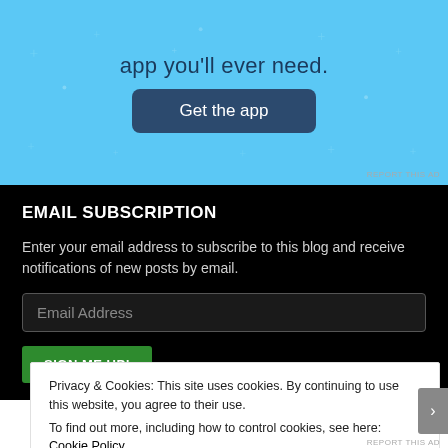[Figure (screenshot): Blue app advertisement banner with 'app you'll ever need.' text and a 'Get the app' dark blue button with star/plus decorations]
REPORT THIS AD
EMAIL SUBSCRIPTION
Enter your email address to subscribe to this blog and receive notifications of new posts by email.
Email Address
SIGN ME UP!
Privacy & Cookies: This site uses cookies. By continuing to use this website, you agree to their use.
To find out more, including how to control cookies, see here: Cookie Policy
Close and accept
REPORT THIS AD